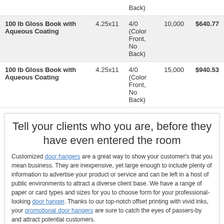| Product | Size | Color | Qty | Price |
| --- | --- | --- | --- | --- |
| (partial - continued from above) |  | 4/0 (Color Front, No Back) |  |  |
| 100 lb Gloss Book with Aqueous Coating | 4.25x11 | 4/0 (Color Front, No Back) | 10,000 | $640.77 |
| 100 lb Gloss Book with Aqueous Coating | 4.25x11 | 4/0 (Color Front, No Back) | 15,000 | $940.53 |
Tell your clients who you are, before they have even entered the room
Customized door hangers are a great way to show your customer's that you mean business. They are inexpensive, yet large enough to include plenty of information to advertise your product or service and can be left in a host of public environments to attract a diverse client base. We have a range of paper or card types and sizes for you to choose form for your professional-looking door hanger. Thanks to our top-notch offset printing with vivid inks, your promotional door hangers are sure to catch the eyes of passers-by and attract potential customers.